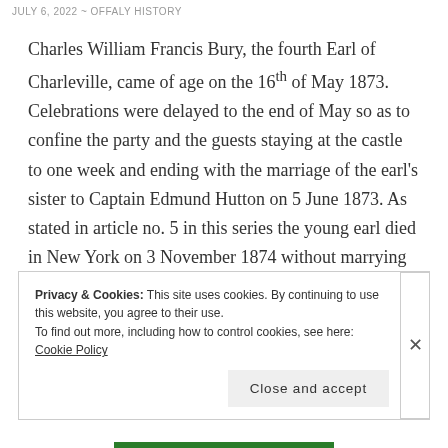JULY 6, 2022 ~ OFFALY HISTORY
Charles William Francis Bury, the fourth Earl of Charleville, came of age on the 16th of May 1873. Celebrations were delayed to the end of May so as to confine the party and the guests staying at the castle to one week and ending with the marriage of the earl's sister to Captain Edmund Hutton on 5 June 1873. As stated in article no. 5 in this series the young earl died in New York on 3 November 1874 without marrying and was succeeded as fifth earl by
Privacy & Cookies: This site uses cookies. By continuing to use this website, you agree to their use.
To find out more, including how to control cookies, see here: Cookie Policy
Close and accept